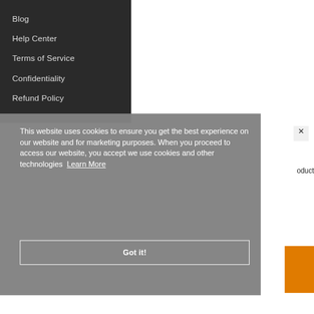Blog
Help Center
Terms of Service
Confidentiality
Refund Policy
This website uses cookies to ensure you get the best experience on our website and for marketing purposes. When you proceed to access our website, you accept we use cookies and other technologies Learn More
Got it!
×
oduct